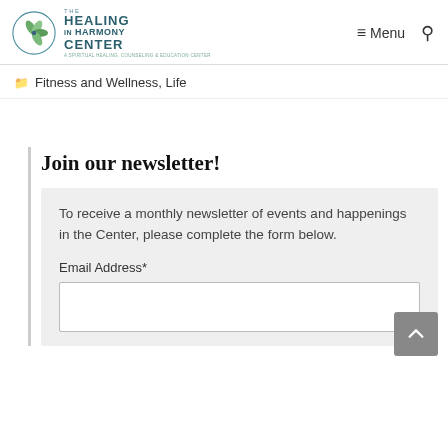The Healing in Harmony Center — A Spiritual Healing, Counseling & Education Center
Fitness and Wellness, Life
Join our newsletter!
To receive a monthly newsletter of events and happenings in the Center, please complete the form below.
Email Address*